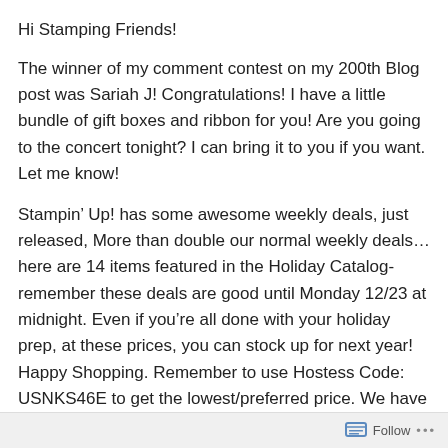Hi Stamping Friends!
The winner of my comment contest on my 200th Blog post was Sariah J! Congratulations! I have a little bundle of gift boxes and ribbon for you! Are you going to the concert tonight? I can bring it to you if you want. Let me know!
Stampin’ Up! has some awesome weekly deals, just released, More than double our normal weekly deals… here are 14 items featured in the Holiday Catalog- remember these deals are good until Monday 12/23 at midnight. Even if you’re all done with your holiday prep, at these prices, you can stock up for next year! Happy Shopping. Remember to use Hostess Code: USNKS46E to get the lowest/preferred price. We have a secure online
Follow